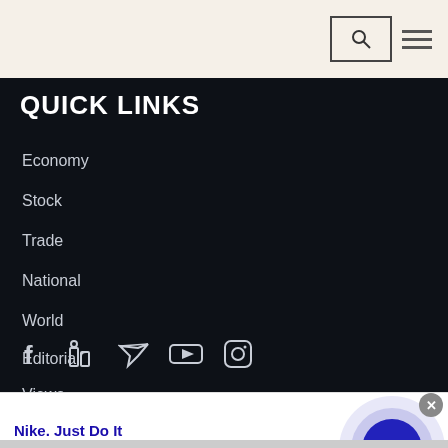QUICK LINKS
Economy
Stock
Trade
National
World
Editorial
Views
[Figure (other): Social media icons row: Facebook, LinkedIn, Twitter, YouTube, Instagram]
Nike. Just Do It
Inspiring the world's athletes, Nike delivers the deals
www.nike.com